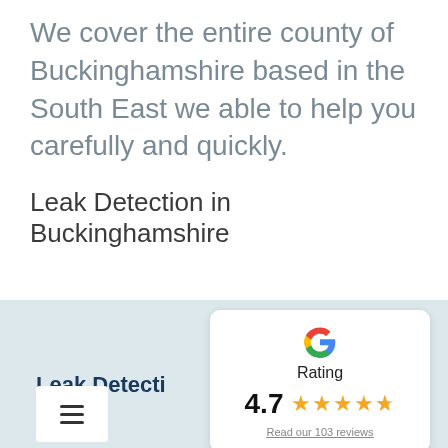We cover the entire county of Buckinghamshire based in the South East we able to help you carefully and quickly.
Leak Detection in Buckinghamshire
Leak Detecti
[Figure (screenshot): Google rating card showing 4.7 stars out of 5 based on 103 reviews]
Read our 103 reviews